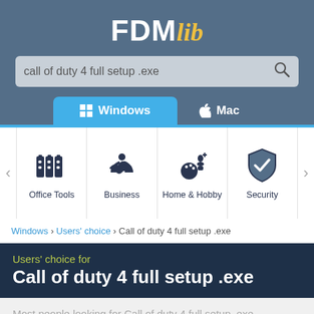FDM lib
call of duty 4 full setup .exe
Windows   Mac
[Figure (screenshot): Category icons row: Office Tools, Business, Home & Hobby, Security]
Windows › Users' choice › Call of duty 4 full setup .exe
Users' choice for
Call of duty 4 full setup .exe
Most people looking for Call of duty 4 full setup .exe downloaded: